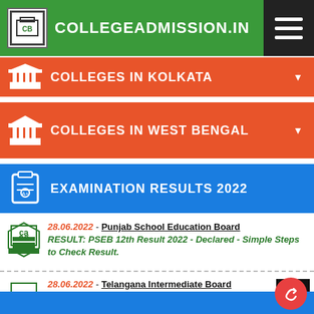COLLEGEADMISSION.IN
COLLEGES IN KOLKATA
COLLEGES IN WEST BENGAL
EXAMINATION RESULTS 2022
28.06.2022 - Punjab School Education Board
RESULT: PSEB 12th Result 2022 - Declared - Simple Steps to Check Result.
28.06.2022 - Telangana Intermediate Board
RESULT: TS Inter Results 2022 - Telangana 12th Result Out - Simple Steps to Check Result.
20.06.2022 - Central Board of Secondary Education [CBSE]
RESULT: CBSE Class 12th Result 2022 - Simple Steps to Check